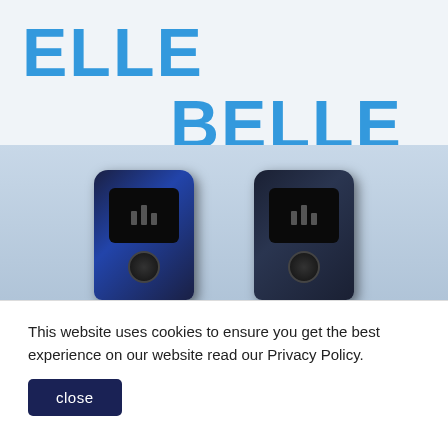[Figure (illustration): Advertisement image showing two electronic devices (Elle and Belle) with large blue bold text 'ELLE' on the left and 'BELLE' on the right, with dashed lines pointing down to each device. Devices appear to be small portable electronics/clip-on devices shown against a light blue-gray background.]
This website uses cookies to ensure you get the best experience on our website read our Privacy Policy.
close